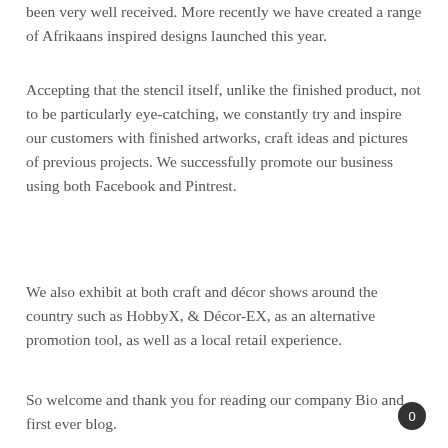been very well received. More recently we have created a range of Afrikaans inspired designs launched this year.
Accepting that the stencil itself, unlike the finished product, not to be particularly eye-catching, we constantly try and inspire our customers with finished artworks, craft ideas and pictures of previous projects. We successfully promote our business using both Facebook and Pintrest.
We also exhibit at both craft and décor shows around the country such as HobbyX, & Décor-EX, as an alternative promotion tool, as well as a local retail experience.
So welcome and thank you for reading our company Bio and first ever blog.
0